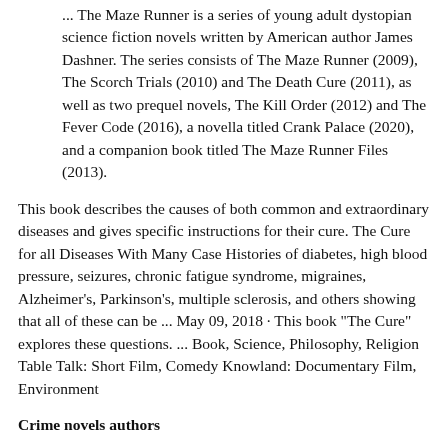... The Maze Runner is a series of young adult dystopian science fiction novels written by American author James Dashner. The series consists of The Maze Runner (2009), The Scorch Trials (2010) and The Death Cure (2011), as well as two prequel novels, The Kill Order (2012) and The Fever Code (2016), a novella titled Crank Palace (2020), and a companion book titled The Maze Runner Files (2013).
This book describes the causes of both common and extraordinary diseases and gives specific instructions for their cure. The Cure for all Diseases With Many Case Histories of diabetes, high blood pressure, seizures, chronic fatigue syndrome, migraines, Alzheimer's, Parkinson's, multiple sclerosis, and others showing that all of these can be ... May 09, 2018 · This book "The Cure" explores these questions. ... Book, Science, Philosophy, Religion Table Talk: Short Film, Comedy Knowland: Documentary Film, Environment
Crime novels authors
House of salt and sorrow
A medical thriller that asks: What if we had the cure for a catastrophic illness—but it lay hidden inside the blood and bones of its terror...? A genetic mystery, a startling investigation, the